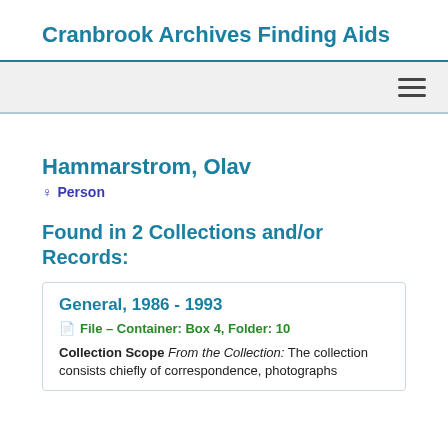Cranbrook Archives Finding Aids
Hammarstrom, Olav
Person
Found in 2 Collections and/or Records:
General, 1986 - 1993
File – Container: Box 4, Folder: 10
Collection Scope From the Collection: The collection consists chiefly of correspondence, photographs